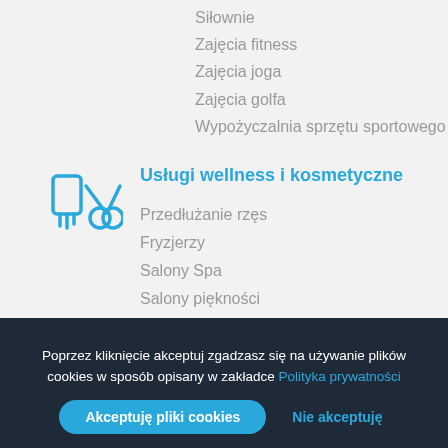Siłownie
Zajęcia fitness
Zajęcia joga
Zajęcia golfa
Wypożyczalnia sprzętu sportowego
Usługi wellness i kosmetyczne
Przedłużanie rzęs
Fryzjerzy
Salony Spa
Salony piękności
Gabinety kosmetyczne
Poprzez kliknięcie akceptuj zgadzasz się na używanie plików cookies w sposób opisany w zakładce Polityka prywatności
Akceptuję pliki cookies | Nie akceptuję